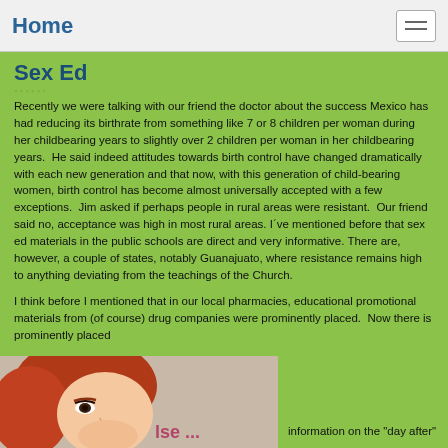Home
Sex Ed
Recently we were talking with our friend the doctor about the success Mexico has had reducing its birthrate from something like 7 or 8 children per woman during her childbearing years to slightly over 2 children per woman in her childbearing years.  He said indeed attitudes towards birth control have changed dramatically with each new generation and that now, with this generation of child-bearing women, birth control has become almost universally accepted with a few exceptions.  Jim asked if perhaps people in rural areas were resistant.  Our friend said no, acceptance was high in most rural areas. I´ve mentioned before that sex ed materials in the public schools are direct and very informative. There are, however, a couple of states, notably Guanajuato, where resistance remains high to anything deviating from the teachings of the Church.
I think before I mentioned that in our local pharmacies, educational promotional materials from (of course) drug companies were prominently placed.  Now there is prominently placed
[Figure (illustration): Cartoon illustration of a woman with red/auburn hair, partial view of an educational pamphlet or poster]
information on the "day after"